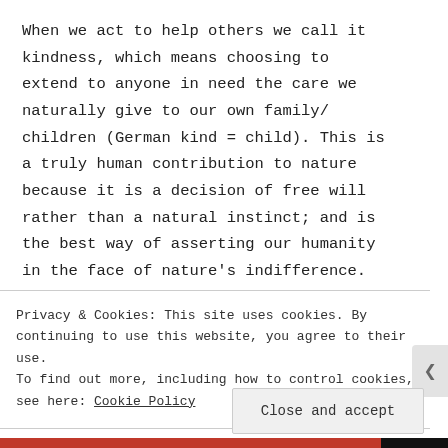When we act to help others we call it kindness, which means choosing to extend to anyone in need the care we naturally give to our own family/ children (German kind = child). This is a truly human contribution to nature because it is a decision of free will rather than a natural instinct; and is the best way of asserting our humanity in the face of nature's indifference. There are natural processes, events and creatures which
Privacy & Cookies: This site uses cookies. By continuing to use this website, you agree to their use. To find out more, including how to control cookies, see here: Cookie Policy
Close and accept